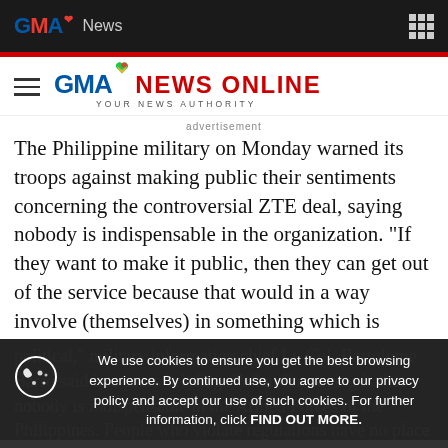GMA News
[Figure (logo): GMA News Online logo with tagline YOUR NEWS AUTHORITY]
advertisement
The Philippine military on Monday warned its troops against making public their sentiments concerning the controversial ZTE deal, saying nobody is indispensable in the organization. "If they want to make it public, then they can get out of the service because that would in a way involve (themselves) in something which is political," military information chief Lt. Col. Bartolome Barro said in a press briefing. "What I'm saying is that nobody is indispensable in the Armed Forces of the Philippines. People who violate regulations have no place in
We use cookies to ensure you get the best browsing experience. By continued use, you agree to our privacy policy and accept our use of such cookies. For further information, click FIND OUT MORE.
Last week, Rodolfo 'Rudy' Bozada Jr. linked former